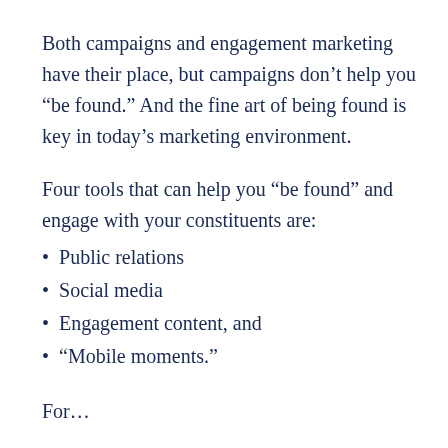Both campaigns and engagement marketing have their place, but campaigns don't help you “be found.” And the fine art of being found is key in today’s marketing environment.
Four tools that can help you “be found” and engage with your constituents are:
Public relations
Social media
Engagement content, and
“Mobile moments.”
For… (continues below)